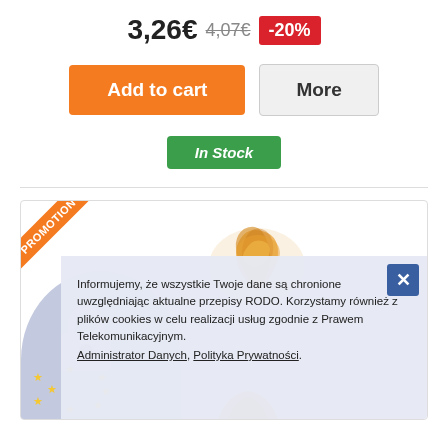3,26€ 4,07€ -20%
Add to cart
More
In Stock
[Figure (screenshot): Product card with PROMOTION corner banner, pastry product image, and GDPR cookie consent overlay showing lock icon with EU stars, text in Polish about RODO data protection, and links to Administrator Danych and Polityka Prywatności]
Informujemy, że wszystkie Twoje dane są chronione uwzględniając aktualne przepisy RODO. Korzystamy również z plików cookies w celu realizacji usług zgodnie z Prawem Telekomunikacyjnym. Administrator Danych, Polityka Prywatności.